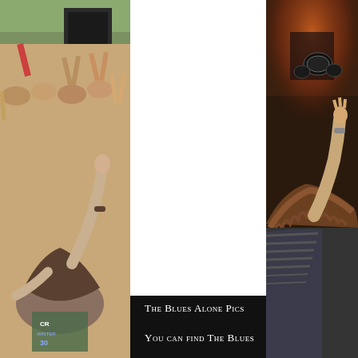[Figure (photo): Left strip: crowd at outdoor concert with hands raised, daytime, trees visible in background]
[Figure (photo): Right strip: concert stage view from behind audience member with arm raised, dramatic stage lighting]
The Blues Alone Pics
You can find The Blues